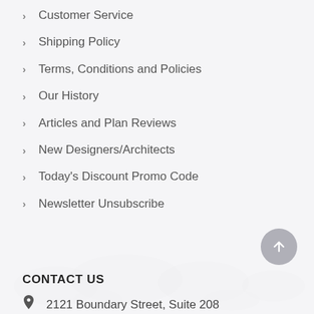Customer Service
Shipping Policy
Terms, Conditions and Policies
Our History
Articles and Plan Reviews
New Designers/Architects
Today's Discount Promo Code
Newsletter Unsubscribe
CONTACT US
2121 Boundary Street, Suite 208